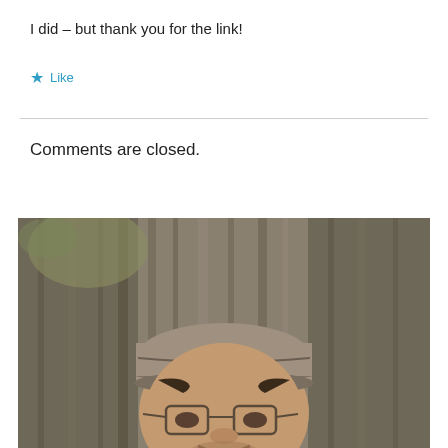I did – but thank you for the link!
★ Like
Comments are closed.
[Figure (photo): A man wearing a grey flat cap and glasses, smiling in front of a large tree with rough bark texture. The photo appears to be a selfie taken outdoors.]